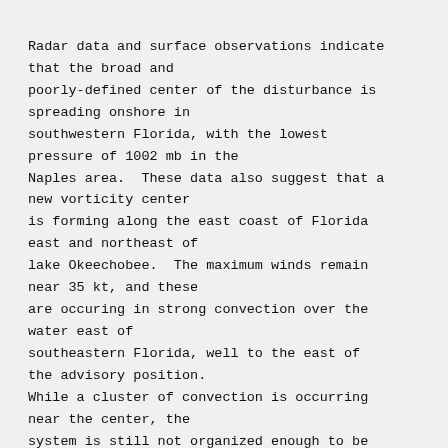Radar data and surface observations indicate that the broad and poorly-defined center of the disturbance is spreading onshore in southwestern Florida, with the lowest pressure of 1002 mb in the Naples area.  These data also suggest that a new vorticity center is forming along the east coast of Florida east and northeast of lake Okeechobee.  The maximum winds remain near 35 kt, and these are occuring in strong convection over the water east of southeastern Florida, well to the east of the advisory position. While a cluster of convection is occurring near the center, the system is still not organized enough to be